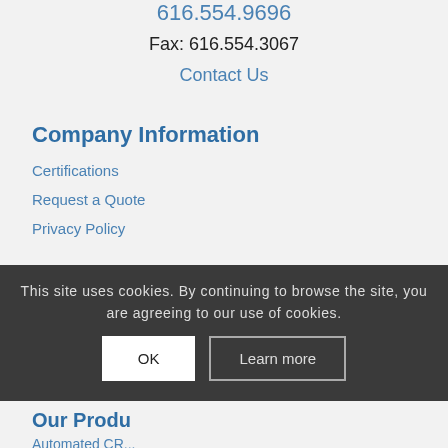616.554.9696
Fax: 616.554.3067
Contact Us
Company Information
Certifications
Request a Quote
Privacy Policy
This site uses cookies. By continuing to browse the site, you are agreeing to our use of cookies.
Our Produ...
Automated CR...